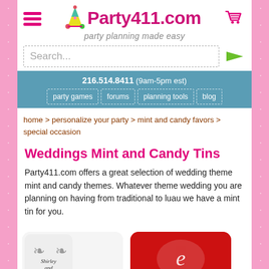[Figure (logo): Party411.com logo with party hat icon, hamburger menu icon on left, shopping cart icon on right]
party planning made easy
Search...
216.514.8411 (9am-5pm est)
party games | forums | planning tools | blog
home > personalize your party > mint and candy favors > special occasion
Weddings Mint and Candy Tins
Party411.com offers a great selection of wedding theme mint and candy themes. Whatever theme wedding you are planning on having from traditional to luau we have a mint tin for you.
[Figure (photo): Two product images: a black and white damask wedding mint tin on the left, and a red oval tin on the right]